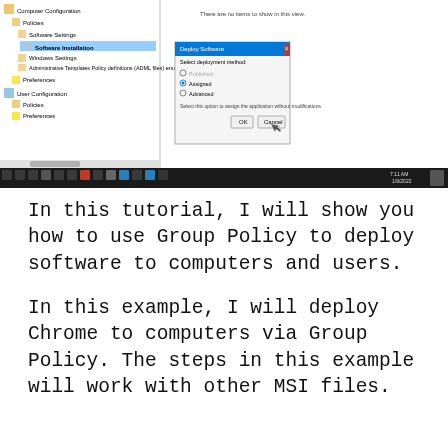[Figure (screenshot): Windows Group Policy Management Editor screenshot showing Computer Configuration > Policies > Software Settings > Software Installation selected in the left pane, with a 'Deploy Software' dialog box open on the right showing deployment method options (Published, Required selected, Advanced) and OK/Cancel buttons. Windows taskbar visible at bottom.]
In this tutorial, I will show you how to use Group Policy to deploy software to computers and users.
In this example, I will deploy Chrome to computers via Group Policy. The steps in this example will work with other MSI files.